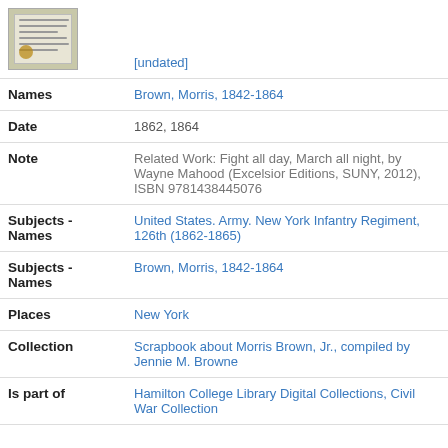| Field | Value |
| --- | --- |
| [thumbnail] | [undated] |
| Names | Brown, Morris, 1842-1864 |
| Date | 1862, 1864 |
| Note | Related Work: Fight all day, March all night, by Wayne Mahood (Excelsior Editions, SUNY, 2012), ISBN 9781438445076 |
| Subjects - Names | United States. Army. New York Infantry Regiment, 126th (1862-1865) |
| Subjects - Names | Brown, Morris, 1842-1864 |
| Places | New York |
| Collection | Scrapbook about Morris Brown, Jr., compiled by Jennie M. Browne |
| Is part of | Hamilton College Library Digital Collections, Civil War Collection |